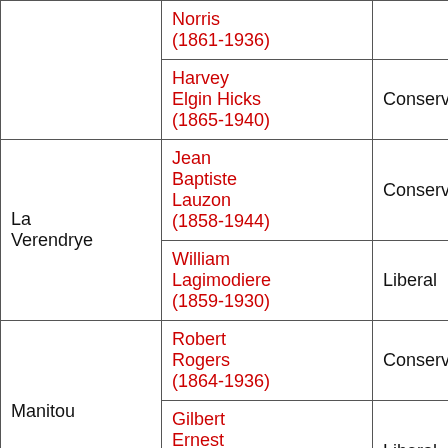| Constituency | Member | Party |
| --- | --- | --- |
|  | Norris (1861-1936) |  |
|  | Harvey Elgin Hicks (1865-1940) | Conservative |
| La Verendrye | Jean Baptiste Lauzon (1858-1944) | Conservative |
|  | William Lagimodiere (1859-1930) | Liberal |
| Manitou | Robert Rogers (1864-1936) | Conservative |
|  | Gilbert Ernest Davidson (1868-1949) | Liberal |
|  |  |  |